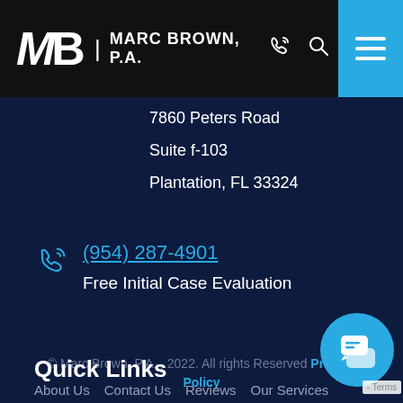MB | MARC BROWN, P.A.
7860 Peters Road
Suite f-103
Plantation,  FL  33324
(954) 287-4901
Free Initial Case Evaluation
© Marc Brown, P.A. , 2022. All rights Reserved Privacy Policy
Quick Links
About Us   Contact Us   Reviews   Our Services